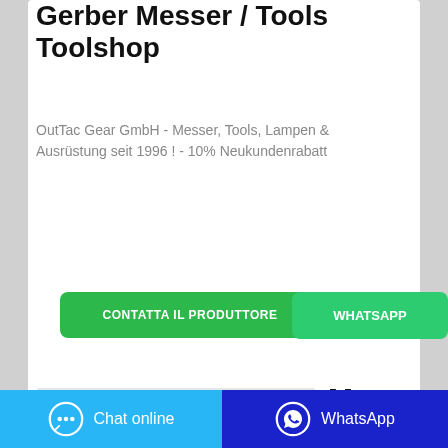Gerber Messer / Tools Toolshop
OutTac Gear GmbH - Messer, Tools, Lampen & Ausrüstung seit 1996 ! - 10% Neukundenrabatt
CONTATTA IL PRODUTTORE
WHATSAPP
My
Chat online
WhatsApp